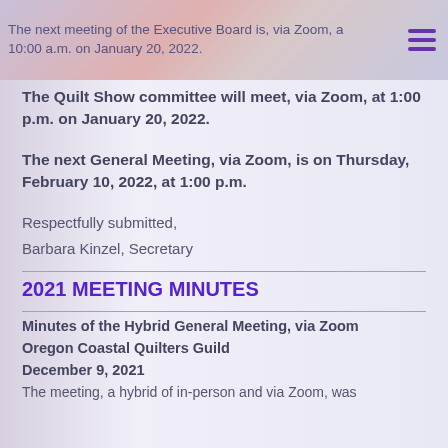The next meeting of the Executive Board is, via Zoom, a 10:00 a.m. on January 20, 2022.
The Quilt Show committee will meet, via Zoom, at 1:00 p.m. on January 20, 2022.
The next General Meeting, via Zoom, is on Thursday, February 10, 2022, at 1:00 p.m.
Respectfully submitted,
Barbara Kinzel, Secretary
2021 MEETING MINUTES
Minutes of the Hybrid General Meeting, via Zoom
Oregon Coastal Quilters Guild
December 9, 2021
The meeting, a hybrid of in-person and via Zoom, was